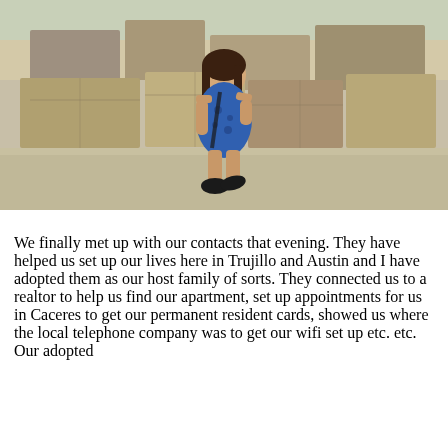[Figure (photo): A young woman in a blue floral dress with cold-shoulder sleeves and black sneakers, sitting on ancient stone ruins with a rocky landscape in the background.]
We finally met up with our contacts that evening. They have helped us set up our lives here in Trujillo and Austin and I have adopted them as our host family of sorts. They connected us to a realtor to help us find our apartment, set up appointments for us in Caceres to get our permanent resident cards, showed us where the local telephone company was to get our wifi set up etc. etc. Our adopted host came from the United States and I used